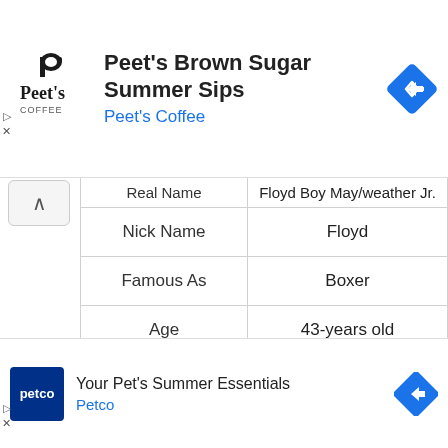[Figure (other): Peet's Coffee advertisement banner with logo, headline 'Peet's Brown Sugar Summer Sips', subtext 'Peet's Coffee', and navigation arrow icon]
| Real Name (partial) | Floyd Boy May/weather Jr. (partial) |
| --- | --- |
| Nick Name | Floyd |
| Famous As | Boxer |
| Age | 43-years old |
| Birthday | February 24, 1977 |
| Birthplace | Grand Rapids, MI |
| Birth Sign | Pisces |
| Nationality | American |
[Figure (other): Petco advertisement banner with logo, headline 'Your Pet's Summer Essentials', subtext 'Petco', and navigation arrow icon]